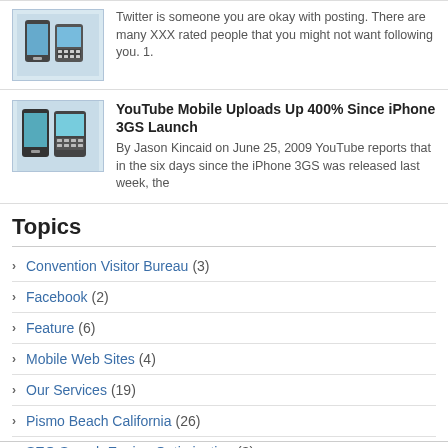[Figure (illustration): Two mobile phone icons (smartphone and BlackBerry style device)]
Twitter is someone you are okay with posting. There are many XXX rated people that you might not want following you. 1.
[Figure (illustration): Two mobile phone icons (smartphone and BlackBerry style device)]
YouTube Mobile Uploads Up 400% Since iPhone 3GS Launch
By Jason Kincaid on June 25, 2009 YouTube reports that in the six days since the iPhone 3GS was released last week, the
Topics
Convention Visitor Bureau (3)
Facebook (2)
Feature (6)
Mobile Web Sites (4)
Our Services (19)
Pismo Beach California (26)
SEO Search Engine Optimization (3)
Social Media Networking (19)